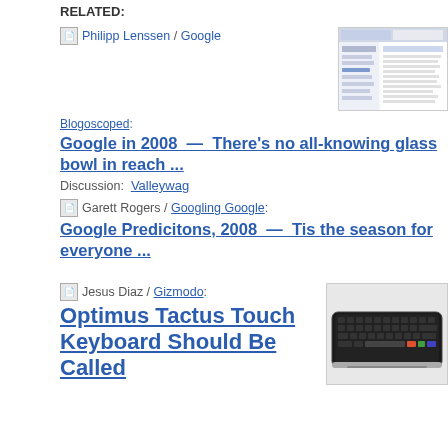RELATED:
📄 Philipp Lenssen / Google
[Figure (screenshot): Screenshot of a Google-related web page showing a table with medical or health information.]
Blogoscoped: Google in 2008  —  There's no all-knowing glass bowl in reach ...
Discussion:  Valleywag
📄 Garett Rogers / Googling Google:   Google Predicitons, 2008  —  Tis the season for everyone ...
📄 Jesus Diaz / Gizmodo: Optimus Tactus Touch Keyboard Should Be Called
[Figure (photo): Photo of an Optimus Tactus touch keyboard, a sleek black keyboard with colored keys.]